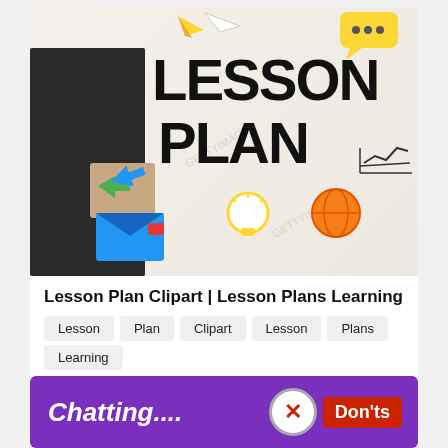[Figure (illustration): A person in a suit writing on a transparent board with 'LESSON PLAN' in large bold text, surrounded by colorful icons: paper airplane, chat bubble, arrows, envelope, lightbulb, globe, and a graph. Watermarked stock image.]
Lesson Plan Clipart | Lesson Plans Learning
Lesson
Plan
Clipart
Lesson
Plans
Learning
[Figure (infographic): Purple banner with white italic cursive text 'Chatting....' on the left, and a red badge with a circle-X icon followed by bold white text 'Don'ts' on the right. Partial text visible at bottom: 'No private chatting without...']